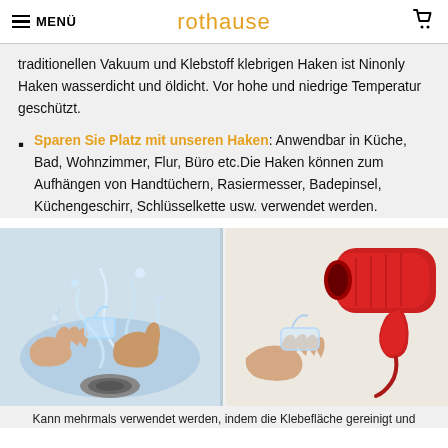MENÜ  rothause  [cart]
traditionellen Vakuum und Klebstoff klebrigen Haken ist Ninonly Haken wasserdicht und öldicht. Vor hohe und niedrige Temperatur geschützt.
Sparen Sie Platz mit unseren Haken: Anwendbar in Küche, Bad, Wohnzimmer, Flur, Büro etc.Die Haken können zum Aufhängen von Handtüchern, Rasiermesser, Badepinsel, Küchengeschirr, Schlüsselkette usw. verwendet werden.
[Figure (photo): Two photos side by side: left shows hands rinsing a transparent hook under running water in a sink; right shows a hand holding a transparent hook near a red hair dryer.]
Kann mehrmals verwendet werden, indem die Klebefläche gereinigt und